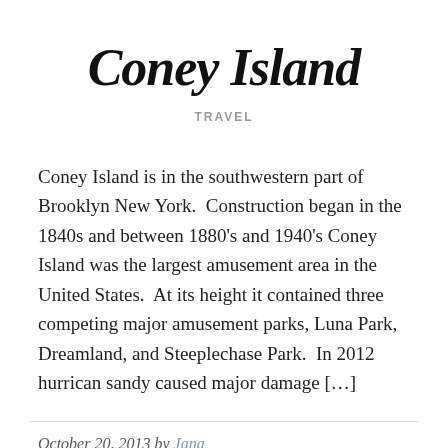Coney Island
TRAVEL
Coney Island is in the southwestern part of Brooklyn New York.  Construction began in the 1840s and between 1880's and 1940's Coney Island was the largest amusement area in the United States.  At its height it contained three competing major amusement parks, Luna Park, Dreamland, and Steeplechase Park.  In 2012 hurrican sandy caused major damage […]
October 20, 2013 by Jana